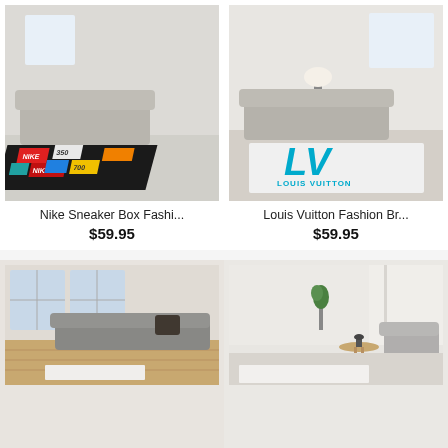[Figure (photo): Nike Sneaker Box themed area rug in a living room setting]
Nike Sneaker Box Fashi...
$59.95
[Figure (photo): Louis Vuitton Fashion Brand area rug with LV logo in a living room]
Louis Vuitton Fashion Br...
$59.95
[Figure (photo): Area rug in a modern living room with grey sofa and hardwood floor]
[Figure (photo): Area rug in a minimalist living room with grey armchair and side table]